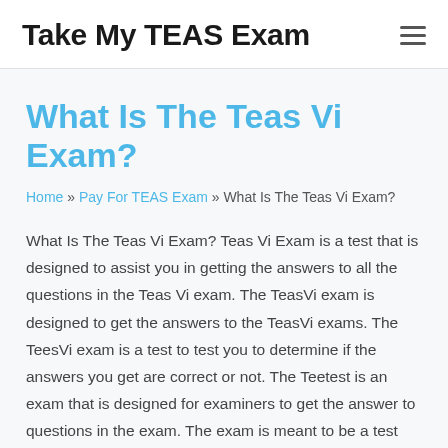Take My TEAS Exam
What Is The Teas Vi Exam?
Home » Pay For TEAS Exam » What Is The Teas Vi Exam?
What Is The Teas Vi Exam? Teas Vi Exam is a test that is designed to assist you in getting the answers to all the questions in the Teas Vi exam. The TeasVi exam is designed to get the answers to the TeasVi exams. The TeesVi exam is a test to test you to determine if the answers you get are correct or not. The Teetest is an exam that is designed for examiners to get the answer to questions in the exam. The exam is meant to be a test that can assist you in determining the answers